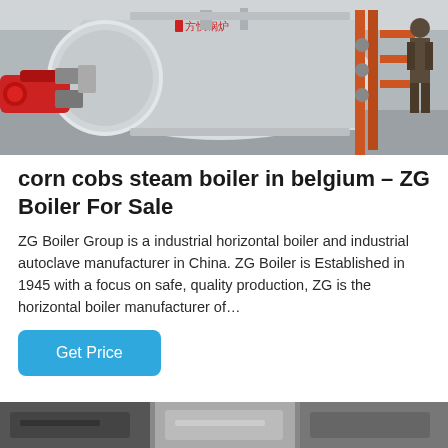[Figure (photo): Industrial horizontal boiler with red burner attachment on the left side, cylindrical body with Chinese text logo, and piping/valves visible on the right with a worker standing nearby. Industrial facility interior.]
corn cobs steam boiler in belgium – ZG Boiler For Sale
ZG Boiler Group is a industrial horizontal boiler and industrial autoclave manufacturer in China. ZG Boiler is Established in 1945 with a focus on safe, quality production, ZG is the horizontal boiler manufacturer of…
Get Price
[Figure (photo): Partial view of another industrial boiler or machinery at the bottom of the page, cropped.]